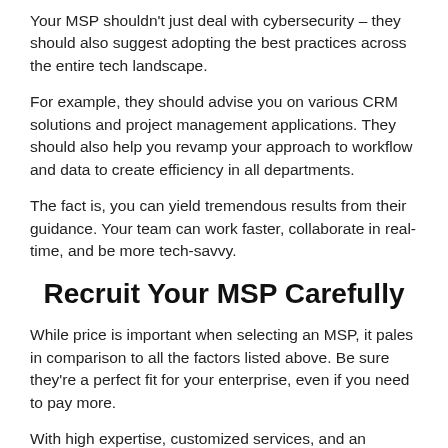Your MSP shouldn't just deal with cybersecurity – they should also suggest adopting the best practices across the entire tech landscape.
For example, they should advise you on various CRM solutions and project management applications. They should also help you revamp your approach to workflow and data to create efficiency in all departments.
The fact is, you can yield tremendous results from their guidance. Your team can work faster, collaborate in real-time, and be more tech-savvy.
Recruit Your MSP Carefully
While price is important when selecting an MSP, it pales in comparison to all the factors listed above. Be sure they're a perfect fit for your enterprise, even if you need to pay more.
With high expertise, customized services, and an understanding of threats, a reputable team can help you stay ahead of your